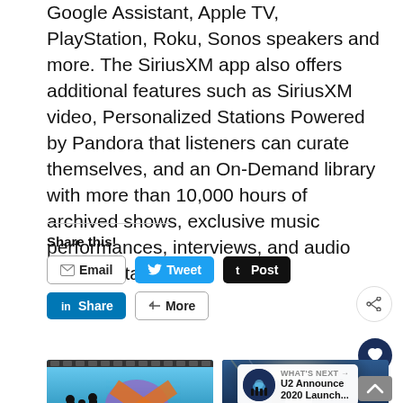Google Assistant, Apple TV, PlayStation, Roku, Sonos speakers and more. The SiriusXM app also offers additional features such as SiriusXM video, Personalized Stations Powered by Pandora that listeners can curate themselves, and an On-Demand library with more than 10,000 hours of archived shows, exclusive music performances, interviews, and audio documentaries.
Share this!
[Figure (screenshot): Social sharing buttons: Email, Tweet, Post, Share (LinkedIn), More]
[Figure (screenshot): Heart (like) button and share icon buttons on the right side]
[Figure (photo): U2 Announce 2020 Launch thumbnail image showing band silhouettes and logo]
U2 Announce 2020 Launch
[Figure (photo): Pearl Jam to Play The thumbnail image showing concert scene]
Pearl Jam to Play The
[Figure (screenshot): What's Next overlay: U2 Announce 2020 Launch...]